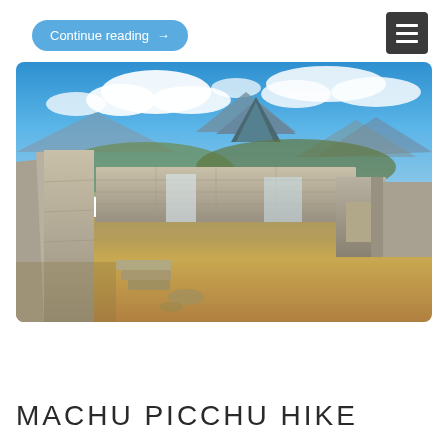Continue reading →
[Figure (photo): Machu Picchu ruins with stone walls and doorways in the foreground, Huayna Picchu mountain peak in the background, blue sky with white clouds]
MACHU PICCHU HIKE